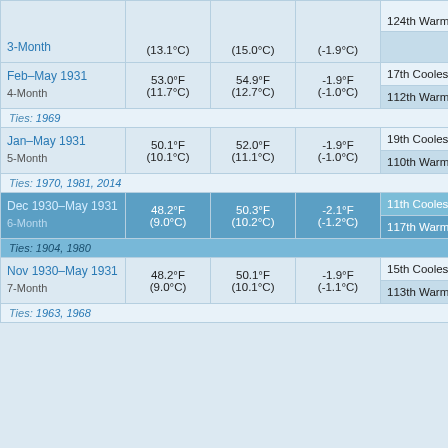| Period | Actual Temp | Average Temp | Departure | Ranking |  |
| --- | --- | --- | --- | --- | --- |
| 3-Month | (13.1°C) | (15.0°C) | (-1.9°C) | 124th Warmest | W |
| Feb–May 1931 4-Month | 53.0°F (11.7°C) | 54.9°F (12.7°C) | -1.9°F (-1.0°C) | 17th Coolest / 112th Warmest | Co / W |
| Ties: 1969 |  |  |  |  |  |
| Jan–May 1931 5-Month | 50.1°F (10.1°C) | 52.0°F (11.1°C) | -1.9°F (-1.0°C) | 19th Coolest / 110th Warmest | Co / W |
| Ties: 1970, 1981, 2014 |  |  |  |  |  |
| Dec 1930–May 1931 6-Month | 48.2°F (9.0°C) | 50.3°F (10.2°C) | -2.1°F (-1.2°C) | 11th Coolest / 117th Warmest | Co / W |
| Ties: 1904, 1980 |  |  |  |  |  |
| Nov 1930–May 1931 7-Month | 48.2°F (9.0°C) | 50.1°F (10.1°C) | -1.9°F (-1.1°C) | 15th Coolest / 113th Warmest | Co / W |
| Ties: 1963, 1968 |  |  |  |  |  |